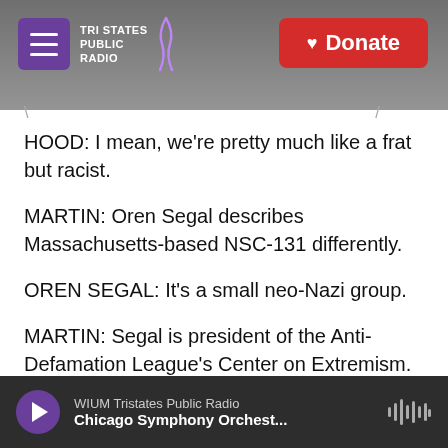[Figure (screenshot): Tri States Public Radio website header with grey sky background, purple hamburger menu button, logo text, and red Donate button]
HOOD: I mean, we're pretty much like a frat but racist.
MARTIN: Oren Segal describes Massachusetts-based NSC-131 differently.
OREN SEGAL: It's a small neo-Nazi group.
MARTIN: Segal is president of the Anti-Defamation League's Center on Extremism.
SEGAL: Those who identify with this group view themselves as soldiers, essentially, who are at war
WIUM Tristates Public Radio — Chicago Symphony Orchest...